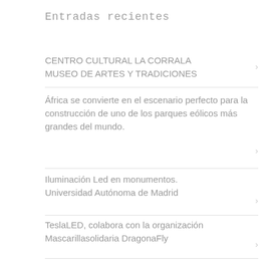Entradas recientes
CENTRO CULTURAL LA CORRALA MUSEO DE ARTES Y TRADICIONES
África se convierte en el escenario perfecto para la construcción de uno de los parques eólicos más grandes del mundo.
Iluminación Led en monumentos. Universidad Autónoma de Madrid
TeslaLED, colabora con la organización Mascarillasolidaria DragonaFly